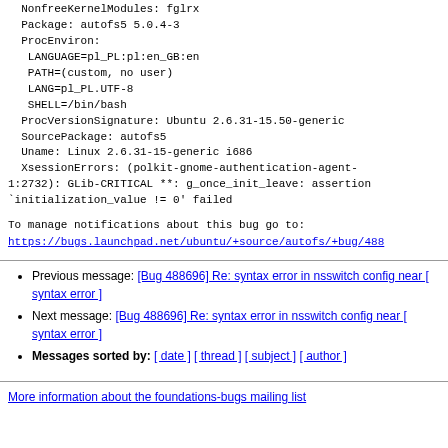NonfreeKernelModules: fglrx
Package: autofs5 5.0.4-3
ProcEnviron:
 LANGUAGE=pl_PL:pl:en_GB:en
 PATH=(custom, no user)
 LANG=pl_PL.UTF-8
 SHELL=/bin/bash
ProcVersionSignature: Ubuntu 2.6.31-15.50-generic
SourcePackage: autofs5
Uname: Linux 2.6.31-15-generic i686
XsessionErrors: (polkit-gnome-authentication-agent-1:2732): GLib-CRITICAL **: g_once_init_leave: assertion `initialization_value != 0' failed
To manage notifications about this bug go to:
https://bugs.launchpad.net/ubuntu/+source/autofs/+bug/488
Previous message: [Bug 488696] Re: syntax error in nsswitch config near [ syntax error ]
Next message: [Bug 488696] Re: syntax error in nsswitch config near [ syntax error ]
Messages sorted by: [ date ] [ thread ] [ subject ] [ author ]
More information about the foundations-bugs mailing list